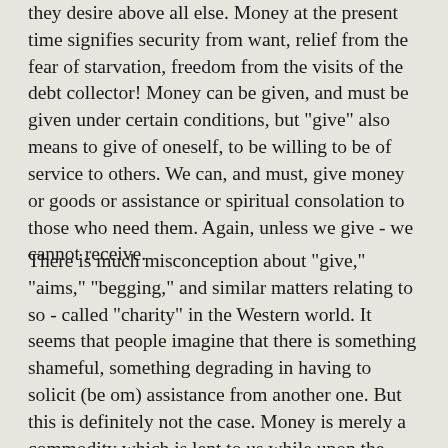they desire above all else. Money at the present time signifies security from want, relief from the fear of starvation, freedom from the visits of the debt collector! Money can be given, and must be given under certain conditions, but "give" also means to give of oneself, to be willing to be of service to others. We can, and must, give money or goods or assistance or spiritual consolation to those who need them. Again, unless we give - we cannot receive.
There is much misconception about "give," "aims," "begging," and similar matters relating to so - called "charity" in the Western world. It seems that people imagine that there is something shameful, something degrading in having to solicit (be om) assistance from another one. But this is definitely not the case. Money is merely a commodity which is lent to us while upon the Earth, it is a commodity with which we can buy happiness and self - advancement by helping others with that